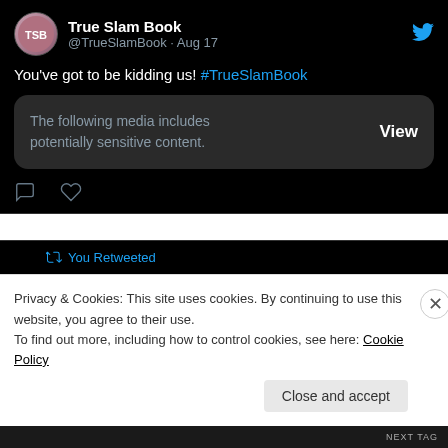[Figure (screenshot): Tweet from @TrueSlamBook dated Aug 17 reading 'You've got to be kidding us! #TrueSlamBook' with a sensitive content warning box, comment and like icons below.]
[Figure (screenshot): Retweet indicator 'You Retweeted' followed by another tweet from @TrueSlamBook dated Jul 28, partially visible.]
Privacy & Cookies: This site uses cookies. By continuing to use this website, you agree to their use.
To find out more, including how to control cookies, see here: Cookie Policy
Close and accept